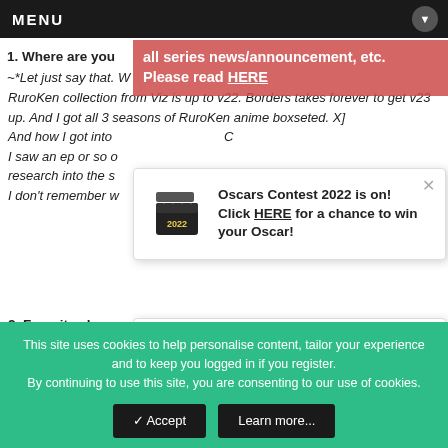MENU
1. Where are you
~*Let just say that. We already finished RuroKen. But on my RuroKen collection from Viz is up to v22. Borders takes forever to get v23 up. And I got all 3 seasons of RuroKen anime boxseted. X]
And how I got into... I saw an ep or so of... research into the si... that I don't remember w...
[Figure (infographic): Red announcement banner: 'all series news/announcement, etc. Please read HERE']
[Figure (infographic): Popup card 1: Film clapper icon with text 'Oscars Contest 2022 is on! Click HERE for a chance to win your Oscar!']
2. Favorite charac
~*Himura Kenshin
3. Favorite point i
[Figure (infographic): Popup card 2: Award star icon with text 'It’s back! MH presents a celebration of manga/anime culture; Mangahelpers Awards 2022 is NOW LIVE!']
Spoiler
This site uses cookies to help personalise content, tailor your experience and to keep you logged in if you register.
By continuing to use this site, you are consenting to our use of cookies.